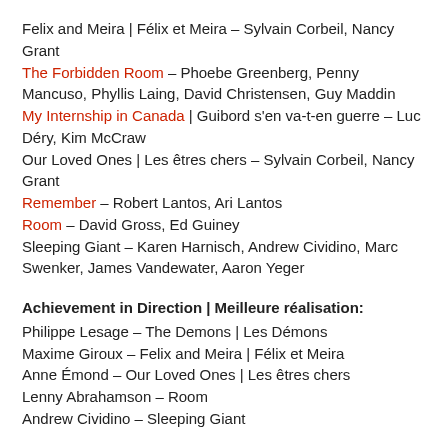Felix and Meira | Félix et Meira – Sylvain Corbeil, Nancy Grant
The Forbidden Room – Phoebe Greenberg, Penny Mancuso, Phyllis Laing, David Christensen, Guy Maddin
My Internship in Canada | Guibord s'en va-t-en guerre – Luc Déry, Kim McCraw
Our Loved Ones | Les êtres chers – Sylvain Corbeil, Nancy Grant
Remember – Robert Lantos, Ari Lantos
Room – David Gross, Ed Guiney
Sleeping Giant – Karen Harnisch, Andrew Cividino, Marc Swenker, James Vandewater, Aaron Yeger
Achievement in Direction | Meilleure réalisation:
Philippe Lesage – The Demons | Les Démons
Maxime Giroux – Felix and Meira | Félix et Meira
Anne Émond – Our Loved Ones | Les êtres chers
Lenny Abrahamson – Room
Andrew Cividino – Sleeping Giant